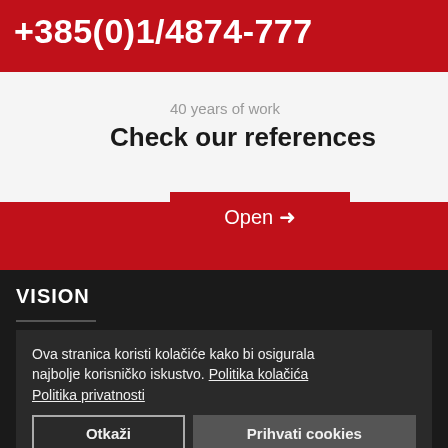+385(0)1/4874-777
40 years of work
Check our references
Open →
VISION
Ova stranica koristi kolačiće kako bi osigurala najbolje korisničko iskustvo. Politika kolačića Politika privatnosti
To ... is in quality and quantity control of goods that continuously strengthens the current position as one of the regional leaders with the further tendency to expand services to Europe and the world.
Otkaži    Prihvati cookies
CROATIAINSPECT D.O.O.